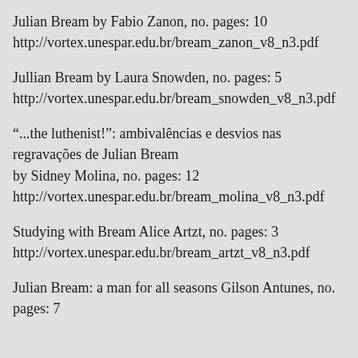Julian Bream by Fabio Zanon, no. pages: 10
http://vortex.unespar.edu.br/bream_zanon_v8_n3.pdf
Jullian Bream by Laura Snowden, no. pages: 5
http://vortex.unespar.edu.br/bream_snowden_v8_n3.pdf
“...the luthenist!”: ambivalências e desvios nas regravações de Julian Bream
by Sidney Molina, no. pages: 12
http://vortex.unespar.edu.br/bream_molina_v8_n3.pdf
Studying with Bream Alice Artzt, no. pages: 3
http://vortex.unespar.edu.br/bream_artzt_v8_n3.pdf
Julian Bream: a man for all seasons Gilson Antunes, no. pages: 7